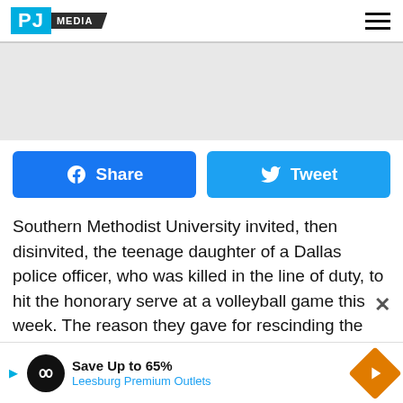PJ MEDIA
[Figure (screenshot): Gray advertisement placeholder area]
[Figure (infographic): Facebook Share button (blue) and Twitter Tweet button (light blue)]
Southern Methodist University invited, then disinvited, the teenage daughter of a Dallas police officer, who was killed in the line of duty, to hit the honorary serve at a volleyball game this week. The reason they gave for rescinding the invitation was, “In light of recent events and diversity within the SMU community, the demonstration could be deemed insensitive.” After an extended the invitation, but failed to give an adequate
[Figure (screenshot): Advertisement banner: Save Up to 65% - Leesburg Premium Outlets]